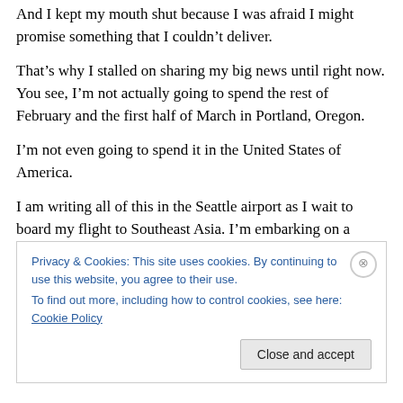And I kept my mouth shut because I was afraid I might promise something that I couldn't deliver.
That's why I stalled on sharing my big news until right now. You see, I'm not actually going to spend the rest of February and the first half of March in Portland, Oregon.
I'm not even going to spend it in the United States of America.
I am writing all of this in the Seattle airport as I wait to board my flight to Southeast Asia. I'm embarking on a
Privacy & Cookies: This site uses cookies. By continuing to use this website, you agree to their use.
To find out more, including how to control cookies, see here: Cookie Policy